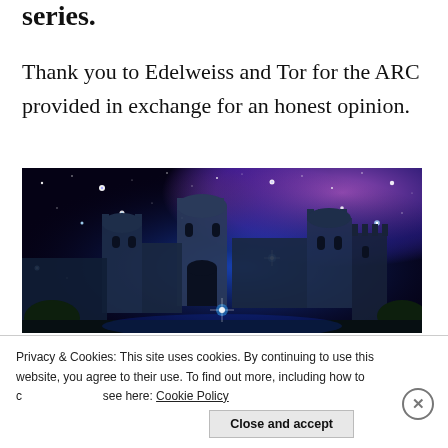series.
Thank you to Edelweiss and Tor for the ARC provided in exchange for an honest opinion.
[Figure (illustration): Fantasy illustration of a medieval castle bathed in colorful cosmic/nebula light with glowing stars, featuring blue and purple hues with orange/red light at the top left.]
Privacy & Cookies: This site uses cookies. By continuing to use this website, you agree to their use. To find out more, including how to control cookies, see here: Cookie Policy
Close and accept